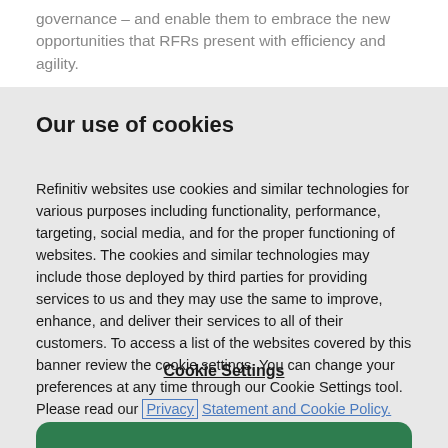governance – and enable them to embrace the new opportunities that RFRs present with efficiency and agility.
Our use of cookies
Refinitiv websites use cookies and similar technologies for various purposes including functionality, performance, targeting, social media, and for the proper functioning of websites. The cookies and similar technologies may include those deployed by third parties for providing services to us and they may use the same to improve, enhance, and deliver their services to all of their customers. To access a list of the websites covered by this banner review the cookie settings. You can change your preferences at any time through our Cookie Settings tool. Please read our Privacy Statement and Cookie Policy.
Cookie Settings